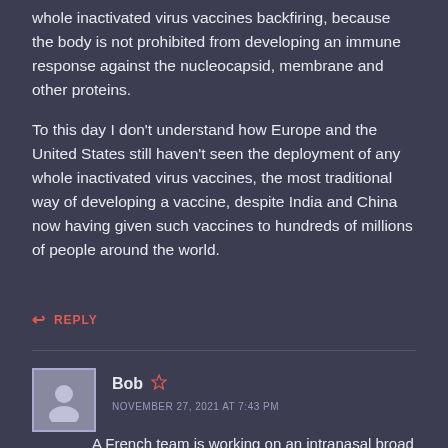whole inactivated virus vaccines backfiring, because the body is not prohibited from developing an immune response against the nucleocapsid, membrane and other proteins.
To this day I don't understand how Europe and the United States still haven't seen the deployment of any whole inactivated virus vaccines, the most traditional way of developing a vaccine, despite India and China now having given such vaccines to hundreds of millions of people around the world.
↩ REPLY
Bob  NOVEMBER 27, 2021 AT 7:43 PM
A French team is working on an intranasal broad spectrum vaccine which contains many viral proteins (not just spike) and is supposed to give you full mucosal